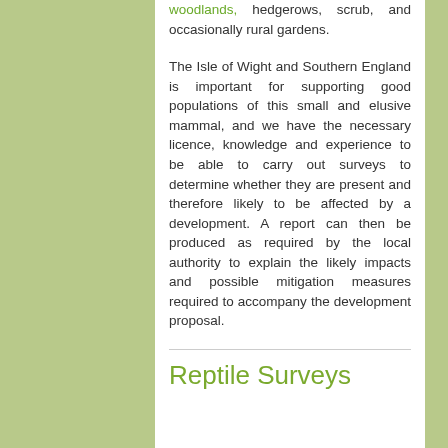woodlands, hedgerows, scrub, and occasionally rural gardens.
The Isle of Wight and Southern England is important for supporting good populations of this small and elusive mammal, and we have the necessary licence, knowledge and experience to be able to carry out surveys to determine whether they are present and therefore likely to be affected by a development. A report can then be produced as required by the local authority to explain the likely impacts and possible mitigation measures required to accompany the development proposal.
Reptile Surveys